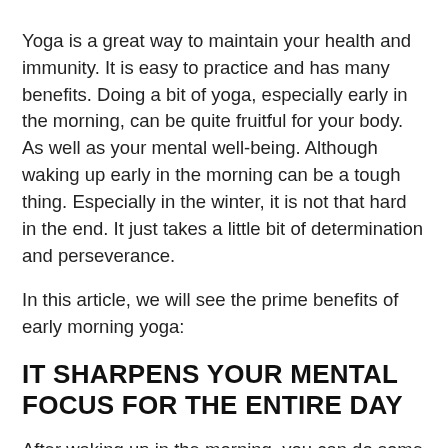Yoga is a great way to maintain your health and immunity. It is easy to practice and has many benefits. Doing a bit of yoga, especially early in the morning, can be quite fruitful for your body. As well as your mental well-being. Although waking up early in the morning can be a tough thing. Especially in the winter, it is not that hard in the end. It just takes a little bit of determination and perseverance.
In this article, we will see the prime benefits of early morning yoga:
IT SHARPENS YOUR MENTAL FOCUS FOR THE ENTIRE DAY
After waking up in the morning, you can do some simple yoga poses, such as the tree pose, and simple one-leg balances. These balance poses to keep your brain engaged and improve your focus levels. They prep you for the work for your day. After the yoga practice, follow up with a calm meditati